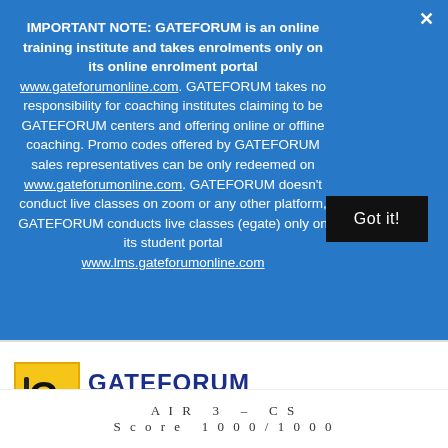IMPORTANT NOTE: GATEFORUM is an online training institute and takes enrolments only on its online enrolment portal www.gateforumonline.com. GATEFORUM takes no responsibility for coaching institutes claiming to be GATEFORUM centers and offering online or offline coaching. Promo codes offered by GATEFORUM sales representatives can be only redeemed on www.gateforumonline.com. GATEFORUM doesn't conduct live classes on zoom or any other platform, GATEFORUM conducts live classes (egate) only on its student portal www.lms.gateforumonline.com
[Figure (screenshot): Got it! button — black rectangle with white text]
[Figure (logo): GATEFORUM logo with yellow G icon and blue text, tagline Engineering Success, yellow dots below]
AIR 3 – CS
Score 1000/1000